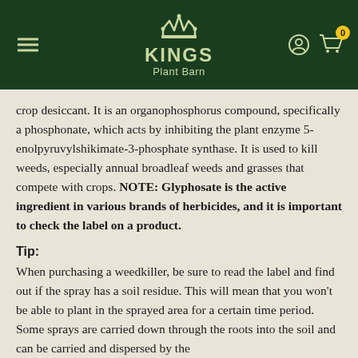[Figure (logo): Kings Plant Barn logo with crown icon on dark green header background, with hamburger menu icon on left and user/cart icons on right]
crop desiccant. It is an organophosphorus compound, specifically a phosphonate, which acts by inhibiting the plant enzyme 5-enolpyruvylshikimate-3-phosphate synthase. It is used to kill weeds, especially annual broadleaf weeds and grasses that compete with crops. NOTE: Glyphosate is the active ingredient in various brands of herbicides, and it is important to check the label on a product.
Tip:
When purchasing a weedkiller, be sure to read the label and find out if the spray has a soil residue. This will mean that you won't be able to plant in the sprayed area for a certain time period. Some sprays are carried down through the roots into the soil and can be carried and dispersed by the